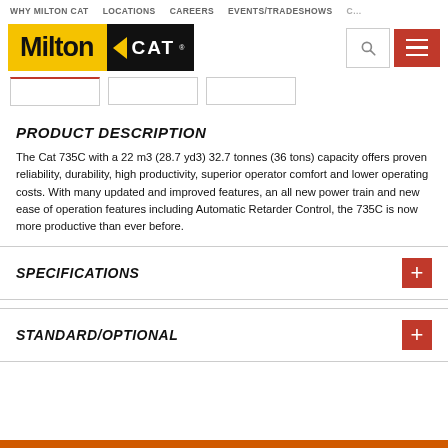WHY MILTON CAT   LOCATIONS   CAREERS   EVENTS/TRADESHOWS   C...
[Figure (logo): Milton CAT logo — yellow background with 'Milton' in black bold text and black background with 'CAT' in white, with a yellow triangle/chevron accent. Search icon and red hamburger menu button on the right.]
PRODUCT DESCRIPTION
The Cat 735C with a 22 m3 (28.7 yd3) 32.7 tonnes (36 tons) capacity offers proven reliability, durability, high productivity, superior operator comfort and lower operating costs. With many updated and improved features, an all new power train and new ease of operation features including Automatic Retarder Control, the 735C is now more productive than ever before.
SPECIFICATIONS
STANDARD/OPTIONAL